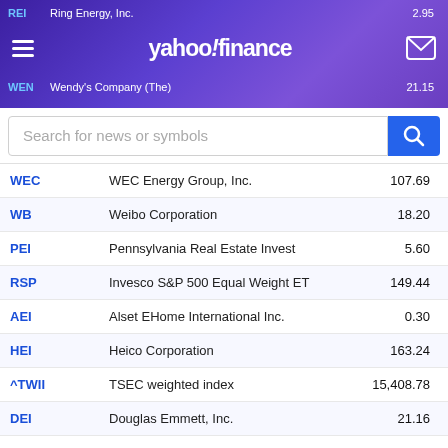Yahoo Finance - Stock search page with ticker symbols
| Symbol | Name | Price |
| --- | --- | --- |
| WEC | WEC Energy Group, Inc. | 107.69 |
| WB | Weibo Corporation | 18.20 |
| PEI | Pennsylvania Real Estate Invest | 5.60 |
| RSP | Invesco S&P 500 Equal Weight ET | 149.44 |
| AEI | Alset EHome International Inc. | 0.30 |
| HEI | Heico Corporation | 163.24 |
| ^TWII | TSEC weighted index | 15,408.78 |
| DEI | Douglas Emmett, Inc. | 21.16 |
| TEI | Templeton Emerging Markets Inco | 5.22 |
| ZEB.TO | BMO EQUAL WEIGHT BANKS INDEX ET | 36.76 |
| WEX | WEX Inc. | 166.72 |